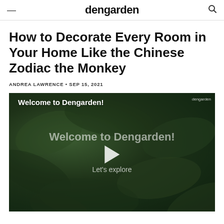dengarden
How to Decorate Every Room in Your Home Like the Chinese Zodiac the Monkey
ANDREA LAWRENCE • SEP 15, 2021
[Figure (screenshot): Video player showing 'Welcome to Dengarden!' with dark green leafy background, play button, and text 'Welcome to Dengarden! Let's explore']